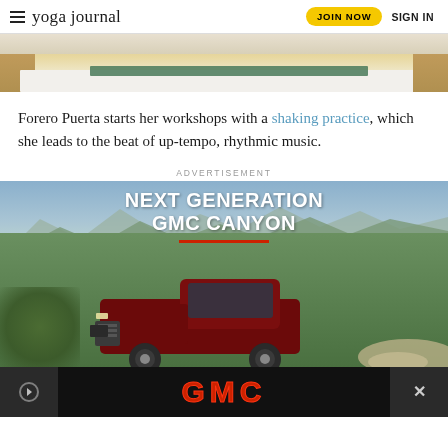yoga journal | JOIN NOW | SIGN IN
[Figure (photo): Partial view of a yoga mat on a white surface, cropped at top of page]
Forero Puerta starts her workshops with a shaking practice, which she leads to the beat of up-tempo, rhythmic music.
ADVERTISEMENT
[Figure (photo): GMC Canyon advertisement showing a dark red GMC Canyon pickup truck driving on a dirt mountain road with landscape background. Text reads: NEXT GENERATION GMC CANYON with a red underline. GMC logo in red at the bottom.]